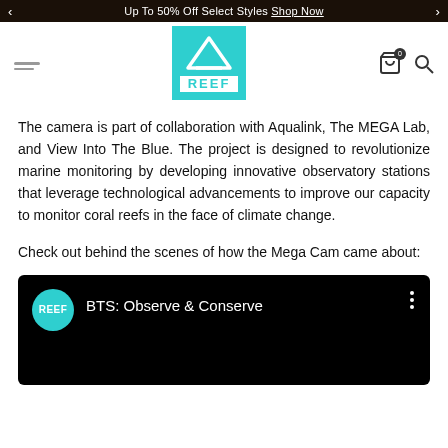Up To 50% Off Select Styles Shop Now
[Figure (logo): REEF brand logo — teal square with mountain/wave icon and REEF text]
The camera is part of collaboration with Aqualink, The MEGA Lab, and View Into The Blue. The project is designed to revolutionize marine monitoring by developing innovative observatory stations that leverage technological advancements to improve our capacity to monitor coral reefs in the face of climate change.
Check out behind the scenes of how the Mega Cam came about:
[Figure (screenshot): YouTube video embed preview with black background, REEF teal circle logo, title 'BTS: Observe & Conserve', and three-dot menu icon]